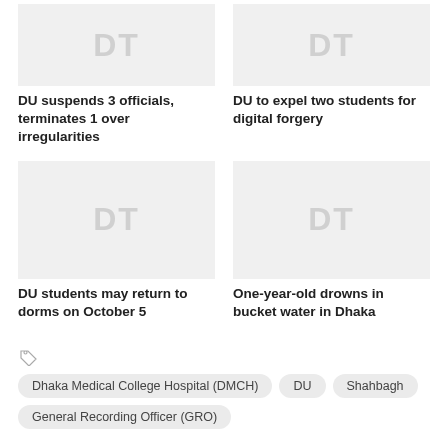[Figure (photo): Placeholder image with DT watermark for article: DU suspends 3 officials, terminates 1 over irregularities]
DU suspends 3 officials, terminates 1 over irregularities
[Figure (photo): Placeholder image with DT watermark for article: DU to expel two students for digital forgery]
DU to expel two students for digital forgery
[Figure (photo): Placeholder image with DT watermark for article: DU students may return to dorms on October 5]
DU students may return to dorms on October 5
[Figure (photo): Placeholder image with DT watermark for article: One-year-old drowns in bucket water in Dhaka]
One-year-old drowns in bucket water in Dhaka
Dhaka Medical College Hospital (DMCH)
DU
Shahbagh
General Recording Officer (GRO)
WORTH READING